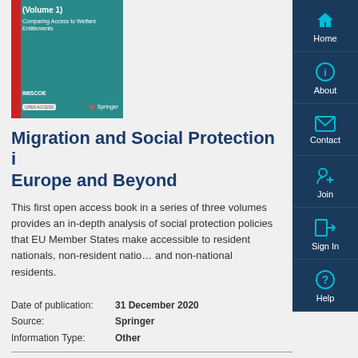[Figure (illustration): Book cover for Migration and Social Protection in Europe and Beyond (Volume 1) — teal background with red spine bar, IMISCOE series, Open Access, Springer publisher.]
Migration and Social Protection in Europe and Beyond
This first open access book in a series of three volumes provides an in-depth analysis of social protection policies that EU Member States make accessible to resident nationals, non-resident nationals and non-national residents.
Date of publication: 31 December 2020
Source: Springer
Information Type: Other